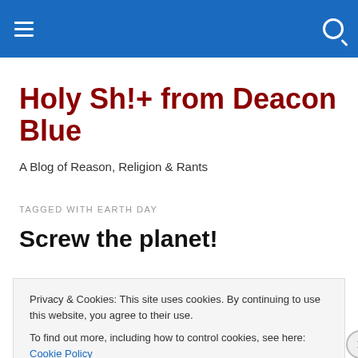Navigation bar with hamburger menu and search icon
Holy Sh!+ from Deacon Blue
A Blog of Reason, Religion & Rants
TAGGED WITH EARTH DAY
Screw the planet!
So, while I was out at the park today with my lovely little
Privacy & Cookies: This site uses cookies. By continuing to use this website, you agree to their use.
To find out more, including how to control cookies, see here: Cookie Policy
Close and accept